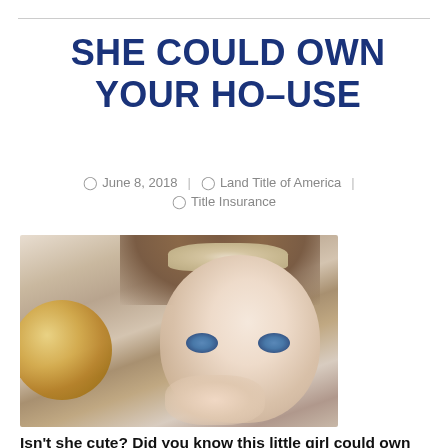SHE COULD OWN YOUR HOUSE
June 8, 2018 | Land Title of America | Title Insurance
[Figure (photo): Close-up photo of a cute young toddler girl with big blue eyes, wearing a pearl/crystal tiara, chin resting on hands, with a golden bokeh background]
Isn't she cute? Did you know this little girl could own your house...